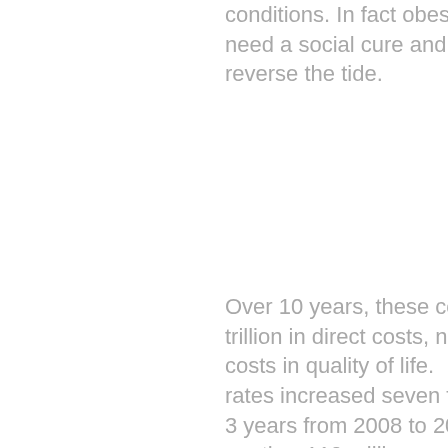conditions. In fact obesity and diabetes are social diseases and need a social cure and collective action on many levels to reverse the tide.
Over 10 years, these conditions will cost America over $3.5 trillion in direct costs, not including lost productivity and the costs in quality of life.  From 1983 to 2008, worldwide diabetes rates increased seven fold from 35 million to 240 million. In just 3 years from 2008 to 2011, the roll call for diabetes increased another 110 million.
Children less than 10 years old